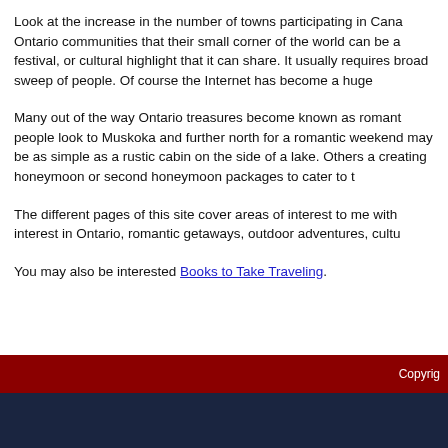Look at the increase in the number of towns participating in Cana... Ontario communities that their small corner of the world can be a... festival, or cultural highlight that it can share. It usually requires... broad sweep of people. Of course the Internet has become a huge...
Many out of the way Ontario treasures become known as romant... people look to Muskoka and further north for a romantic weekend... may be as simple as a rustic cabin on the side of a lake. Others a... creating honeymoon or second honeymoon packages to cater to t...
The different pages of this site cover areas of interest to me with... interest in Ontario, romantic getaways, outdoor adventures, cultu...
You may also be interested Books to Take Traveling.
Copyrig...